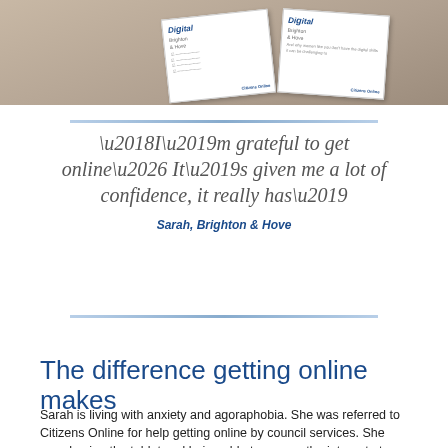[Figure (photo): Photo of Digital Brighton & Hove leaflets/cards on a wooden surface]
‘I’m grateful to get online… It’s given me a lot of confidence, it really has’
Sarah, Brighton & Hove
The difference getting online makes
Sarah is living with anxiety and agoraphobia. She was referred to Citizens Online for help getting online by council services. She says having the tablet and being able to access the internet at home has